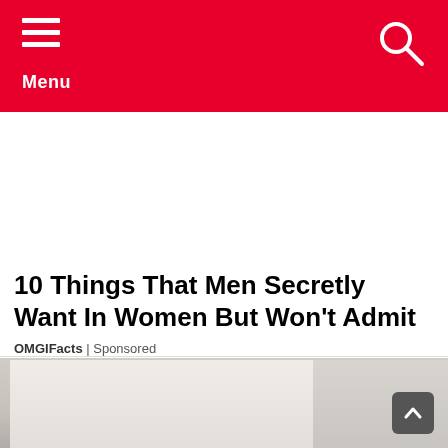Menu
10 Things That Men Secretly Want In Women But Won't Admit
OMGIFacts | Sponsored
[Figure (photo): A cropped photo showing a person or people, partially visible at the bottom of the page.]